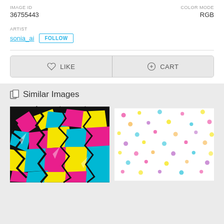IMAGE ID
36755443
COLOR MODE
RGB
ARTIST
sonia_ai
FOLLOW
LIKE
CART
Similar Images
[Figure (illustration): Colorful graffiti pattern with pink, cyan, and yellow shapes on black background]
[Figure (illustration): White background with scattered colorful dots in pink, yellow, cyan, and orange]